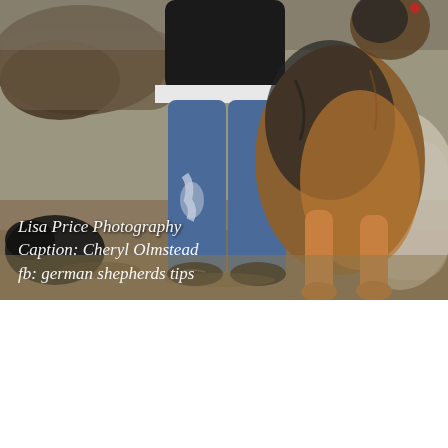[Figure (photo): A child in jeans and dark top standing next to a large German Shepherd dog outdoors. The lower half of the child is visible, and the dog stands as tall as the child. Background shows dry ground and fallen logs. Text overlay reads: Lisa Price Photography / Caption: Cheryl Olmstead / fb: german shepherds tips]